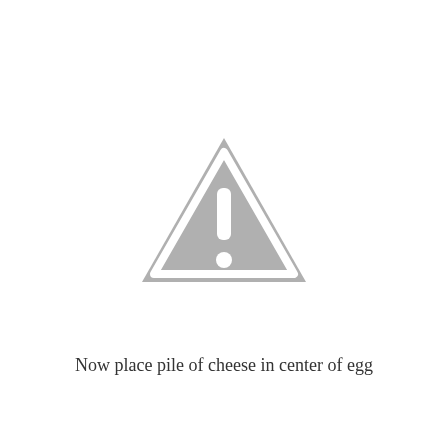[Figure (other): A grey warning/caution triangle icon with an exclamation mark inside, on a white background. The triangle has rounded corners and a white border outline inside.]
Now place pile of cheese in center of egg